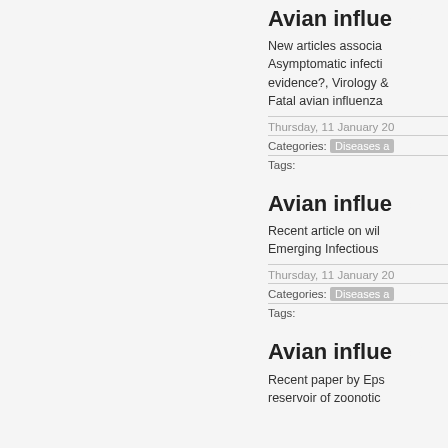Avian influe...
New articles associa... Asymptomatic infecti... evidence?, Virology ... Fatal avian influenza...
Thursday, 11 January 20...
Categories: Diseases a...
Tags:
Avian influe...
Recent article on wil... Emerging Infectious ...
Thursday, 11 January 20...
Categories: Diseases a...
Tags:
Avian influe...
Recent paper by Eps... reservoir of zoonotic ...